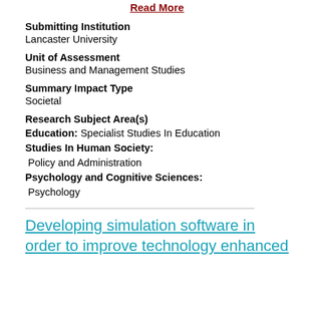Read More
Submitting Institution
Lancaster University
Unit of Assessment
Business and Management Studies
Summary Impact Type
Societal
Research Subject Area(s)
Education: Specialist Studies In Education
Studies In Human Society: Policy and Administration
Psychology and Cognitive Sciences: Psychology
Developing simulation software in order to improve technology enhanced